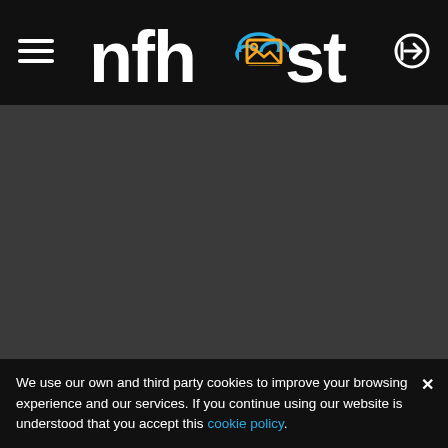[Figure (logo): NFHost logo with cloud and image icon in white, blue and orange on black header bar, with hamburger menu icon on left and login arrow icon on right]
We use our own and third party cookies to improve your browsing experience and our services. If you continue using our website is understood that you accept this cookie policy.